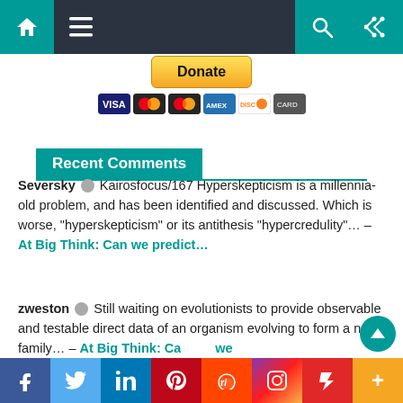Navigation bar with home, menu, search, and shuffle icons
[Figure (other): Donate button with PayPal and payment card icons (Visa, Mastercard, Mastercard, AmEx, Discover, other)]
Recent Comments
Seversky 💬 Kairosfocus/167 Hyperskepticism is a millennia-old problem, and has been identified and discussed. Which is worse, "hyperskepticism" or its antithesis "hypercredulity"... – At Big Think: Can we predict...
zweston 💬 Still waiting on evolutionists to provide observable and testable direct data of an organism evolving to form a new family... – At Big Think: Can we...
Social share bar: Facebook, Twitter, LinkedIn, Pinterest, Reddit, Instagram, Flipboard, More